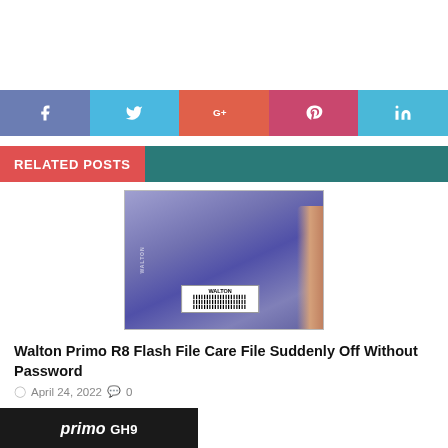[Figure (infographic): Social media sharing bar with Facebook, Twitter, Google+, Pinterest, and LinkedIn buttons]
RELATED POSTS
[Figure (photo): Photo of the back of a Walton Primo R8 phone showing WALTON label with barcode stickers, held in a hand]
Walton Primo R8 Flash File Care File Suddenly Off Without Password
April 24, 2022  0
[Figure (photo): Partial photo showing primo GH9 branding on a dark background]